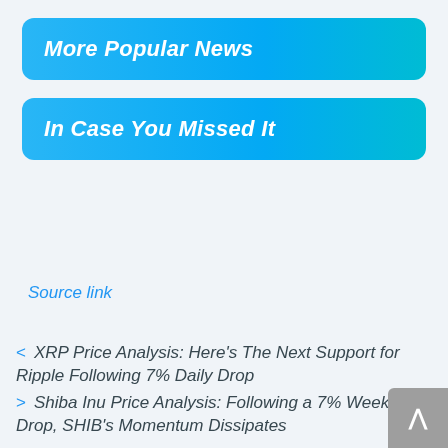More Popular News
In Case You Missed It
Source link
< XRP Price Analysis: Here's The Next Support for Ripple Following 7% Daily Drop
> Shiba Inu Price Analysis: Following a 7% Weekly Drop, SHIB's Momentum Dissipates